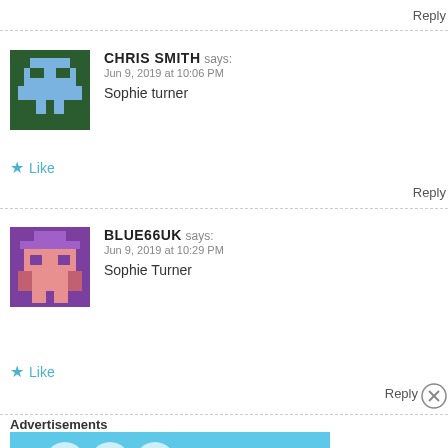Reply
CHRIS SMITH says: Jun 9, 2019 at 10:06 PM
Sophie turner
★ Like
Reply
BLUE66UK says: Jun 9, 2019 at 10:29 PM
Sophie Turner
★ Like
Reply
Advertisements
[Figure (infographic): DAY ONE app advertisement banner: light blue background with icons (journal, person, document) and text 'The only journaling app you'll ever need.']